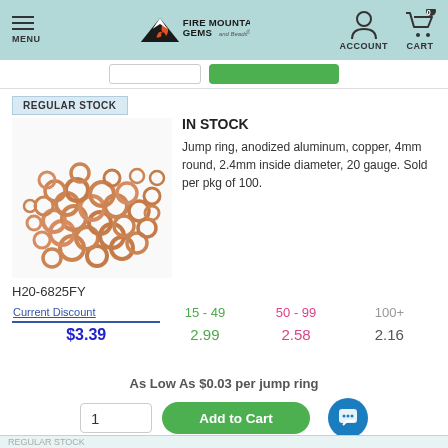Fire Mountain Gems and Beads — MENU | ACCOUNT | CART 0
REGULAR STOCK
[Figure (photo): Pile of copper-colored anodized aluminum jump rings, small round rings in a heap]
IN STOCK
Jump ring, anodized aluminum, copper, 4mm round, 2.4mm inside diameter, 20 gauge. Sold per pkg of 100.
H20-6825FY
| Current Discount | 15 - 49 | 50 - 99 | 100+ |
| --- | --- | --- | --- |
| 1 - 14 | 15 - 49 | 50 - 99 | 100+ |
| $3.39 | 2.99 | 2.58 | 2.16 |
As Low As $0.03 per jump ring